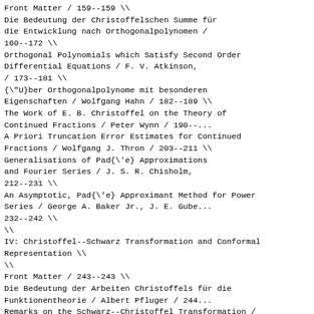Front Matter / 159--159 \\
Die Bedeutung der Christoffelschen Summe für die Entwicklung nach Orthogonalpolynomen / 160--172 \\
Orthogonal Polynomials which Satisfy Second Order Differential Equations / F. V. Atkinson, / 173--181 \\
{\"U}ber Orthogonalpolynome mit besonderen Eigenschaften / Wolfgang Hahn / 182--189 \\
The Work of E. B. Christoffel on the Theory of Continued Fractions / Peter Wynn / 190--...
A Priori Truncation Error Estimates for Continued Fractions / Wolfgang J. Thron / 203--211 \\
Generalisations of Pad{\'e} Approximations and Fourier Series / J. S. R. Chisholm, / 212--231 \\
An Asymptotic, Pad{\'e} Approximant Method for Power Series / George A. Baker Jr., J. E. Gube... / 232--242 \\
\\
IV: Christoffel--Schwarz Transformation and Conformal Representation \\
\\
Front Matter / 243--243 \\
Die Bedeutung der Arbeiten Christoffels für die Funktionentheorie / Albert Pfluger / 244--...
Remarks on the Schwarz--Christoffel Transformation / A. W. Goodman / 253--262 \\
Computer Application of the Schwarz--Christoffel Transformation / Lloyd N. Trefethen / 26...